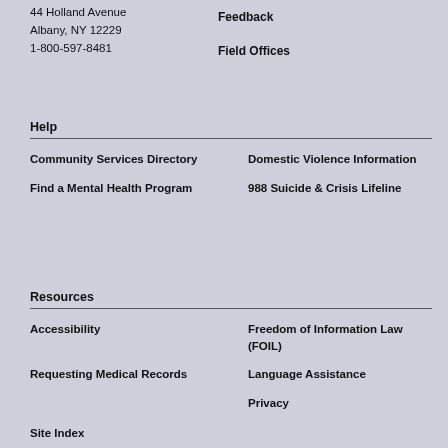44 Holland Avenue
Albany, NY 12229
1-800-597-8481
Feedback
Field Offices
Help
Community Services Directory
Domestic Violence Information
Find a Mental Health Program
988 Suicide & Crisis Lifeline
Resources
Accessibility
Freedom of Information Law (FOIL)
Requesting Medical Records
Language Assistance
Privacy
Site Index